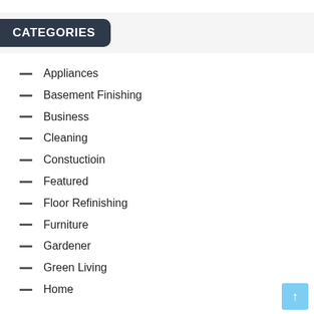CATEGORIES
Appliances
Basement Finishing
Business
Cleaning
Constuctioin
Featured
Floor Refinishing
Furniture
Gardener
Green Living
Home